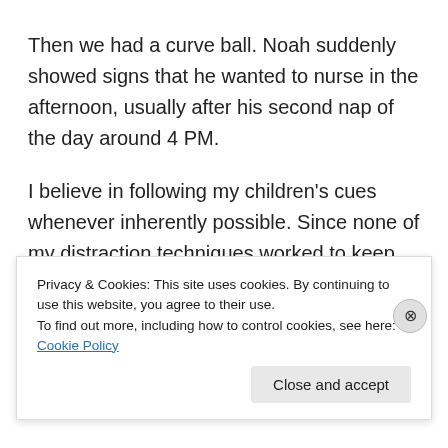Then we had a curve ball. Noah suddenly showed signs that he wanted to nurse in the afternoon, usually after his second nap of the day around 4 PM.
I believe in following my children’s cues whenever inherently possible. Since none of my distraction techniques worked to keep Noah from wanting to nurse late in the afternoon, I made peace with the extra session. I think he liked the cuddle time after his nap and it appeared he was hungry. I was fine with this, I knew we we’re taking things slowly
Privacy & Cookies: This site uses cookies. By continuing to use this website, you agree to their use.
To find out more, including how to control cookies, see here: Cookie Policy